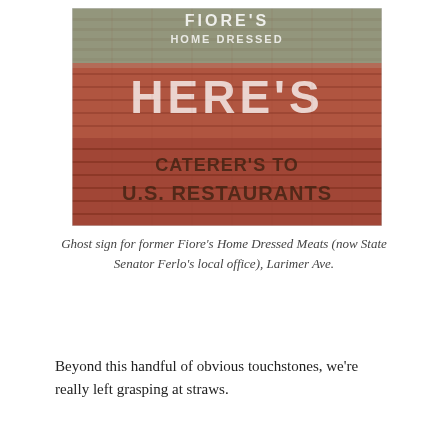[Figure (photo): Ghost sign painted on a red brick wall for former Fiore's Home Dressed Meats. White and green lettering reads 'FIORE'S HOME DRESSED' at the top and 'HERE'S' in large letters in the middle, with darker text reading 'CATERER'S TO' and 'U.S. RESTAURANTS' at the bottom. The paint is faded and weathered.]
Ghost sign for former Fiore's Home Dressed Meats (now State Senator Ferlo's local office), Larimer Ave.
Beyond this handful of obvious touchstones, we're really left grasping at straws.